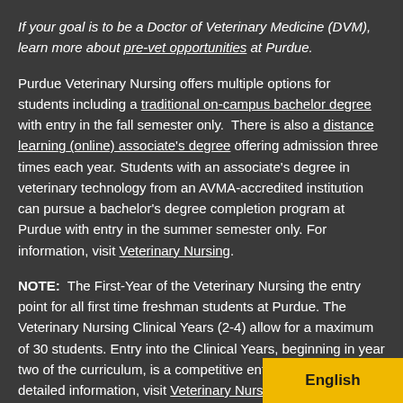If your goal is to be a Doctor of Veterinary Medicine (DVM), learn more about pre-vet opportunities at Purdue.
Purdue Veterinary Nursing offers multiple options for students including a traditional on-campus bachelor degree with entry in the fall semester only. There is also a distance learning (online) associate's degree offering admission three times each year. Students with an associate's degree in veterinary technology from an AVMA-accredited institution can pursue a bachelor's degree completion program at Purdue with entry in the summer semester only. For information, visit Veterinary Nursing.
NOTE: The First-Year of the Veterinary Nursing the entry point for all first time freshman students at Purdue. The Veterinary Nursing Clinical Years (2-4) allow for a maximum of 30 students. Entry into the Clinical Years, beginning in year two of the curriculum, is a competitive entry process. For detailed information, visit Veterinary Nursing.
[Figure (other): Yellow button labeled 'English' in the bottom-right corner]